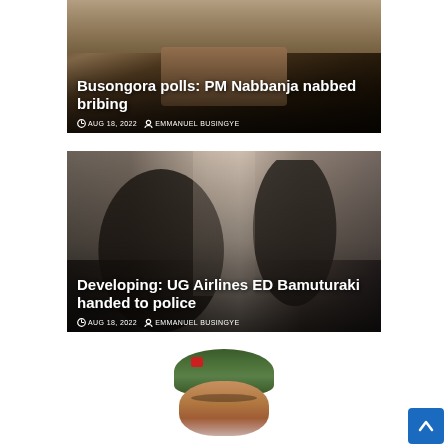[Figure (photo): News article card 1: Photo of a person holding money on a dirt road, with headline and metadata overlaid. Headline: Busongora polls: PM Nabbanja nabbed bribing. Date: AUG 18, 2022. Author: EMMANUEL BUSINGYE.]
Busongora polls: PM Nabbanja nabbed bribing
AUG 18, 2022   EMMANUEL BUSINGYE
[Figure (photo): News article card 2: Photo of people in a meeting room, with a man in a suit at a microphone. Headline: Developing: UG Airlines ED Bamuturaki handed to police. Date: AUG 18, 2022. Author: EMMANUEL BUSINGYE.]
Developing: UG Airlines ED Bamuturaki handed to police
AUG 18, 2022   EMMANUEL BUSINGYE
[Figure (photo): Partial view of a third news article showing a person wearing a green military-style beret, cropped at the bottom of the page.]